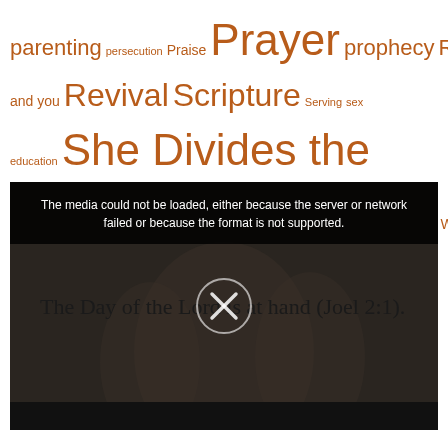parenting persecution Praise Prayer prophecy Rapture relationships and you Revival Scripture Serving sex education She Divides the Spoil Thanksgiving Trials Trump Trumpet Whole Armor of God Wise and foolish Women Worship
[Figure (screenshot): Video player showing media load error message and background text 'The Day of the Lord is at hand (Joel 2:1).' with a circular play/close button overlay]